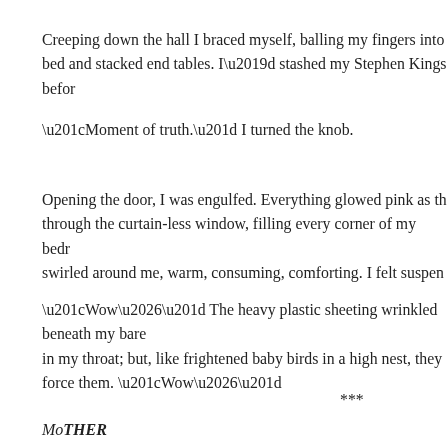Creeping down the hall I braced myself, balling my fingers into bed and stacked end tables. I'd stashed my Stephen Kings befor
“Moment of truth.” I turned the knob.
Opening the door, I was engulfed. Everything glowed pink as th through the curtain-less window, filling every corner of my bed swirled around me, warm, consuming, comforting. I felt suspen
“Wow…” The heavy plastic sheeting wrinkled beneath my bare in my throat; but, like frightened baby birds in a high nest, they force them. “Wow…”
***
MoTHER
NOUN